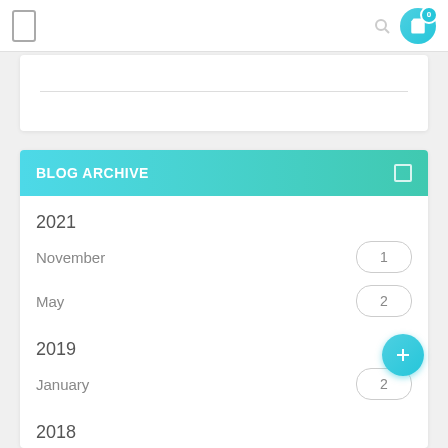[Figure (screenshot): Mobile app navigation bar with hamburger/menu icon on left, search icon and teal circular cart button with badge on right]
[Figure (screenshot): White card panel with horizontal divider line]
BLOG ARCHIVE
2021
November  1
May  2
2019
January  2
2018
December
Octo...